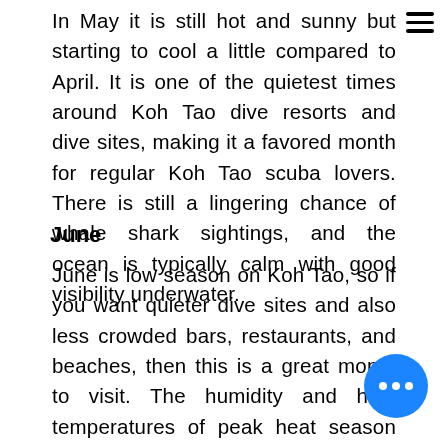In May it is still hot and sunny but starting to cool a little compared to April. It is one of the quietest times around Koh Tao dive resorts and dive sites, making it a favored month for regular Koh Tao scuba lovers. There is still a lingering chance of whale shark sightings, and the ocean is typically calm with good visibility underwater.
June
June is low season on Koh Tao, so if you want quieter dive sites and also less crowded bars, restaurants, and beaches, then this is a great month to visit. The humidity and high temperatures of peak heat season have dissipated, but with the monsoon season now beginning on the West